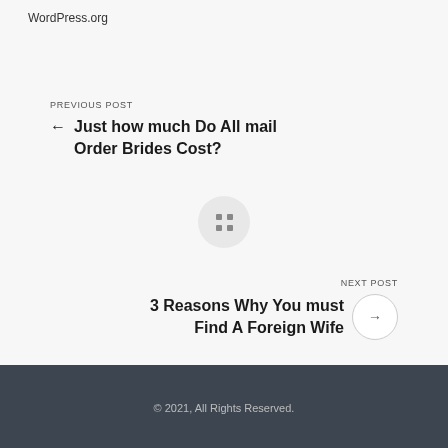WordPress.org
PREVIOUS POST
Just how much Do All mail Order Brides Cost?
[Figure (other): Grid of four dots (navigation icon) inside a light gray circle]
NEXT POST
3 Reasons Why You must Find A Foreign Wife
© 2021, All Rights Reserved.